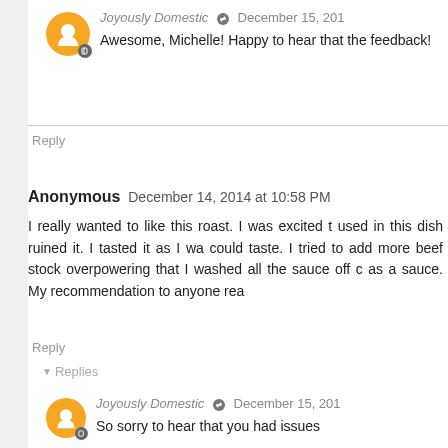Joyously Domestic  December 15, 201
Awesome, Michelle! Happy to hear that the feedback!
Reply
Anonymous December 14, 2014 at 10:58 PM
I really wanted to like this roast. I was excited t used in this dish ruined it. I tasted it as I wa could taste. I tried to add more beef stock overpowering that I washed all the sauce off c as a sauce. My recommendation to anyone rea
Reply
▾ Replies
Joyously Domestic  December 15, 201
So sorry to hear that you had issues